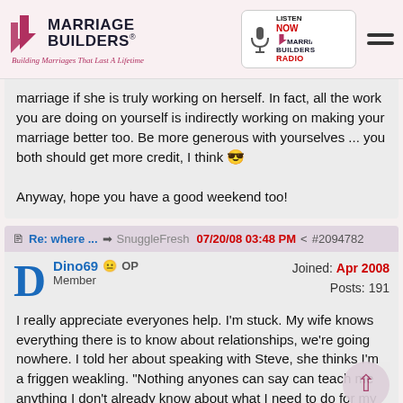Marriage Builders — Building Marriages That Last A Lifetime
marriage if she is truly working on herself. In fact, all the work you are doing on yourself is indirectly working on making your marriage better too. Be more generous with yourselves ... you both should get more credit, I think 😎

Anyway, hope you have a good weekend too!
Re: where ... ➡ SnuggleFresh 07/20/08 03:48 PM < #2094782
Dino69 😐 OP — Joined: Apr 2008
Member — Posts: 191

I really appreciate everyones help. I'm stuck. My wife knows everything there is to know about relationships, we're going nowhere. I told her about speaking with Steve, she thinks I'm a friggen weakling. "Nothing anyones can say can teach me anything I don't already know about what I need to do for my